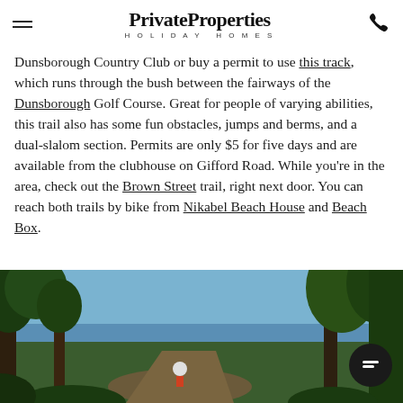Private Properties HOLIDAY HOMES
Dunsborough Country Club or buy a permit to use this track, which runs through the bush between the fairways of the Dunsborough Golf Course. Great for people of varying abilities, this trail also has some fun obstacles, jumps and berms, and a dual-slalom section. Permits are only $5 for five days and are available from the clubhouse on Gifford Road. While you're in the area, check out the Brown Street trail, right next door. You can reach both trails by bike from Nikabel Beach House and Beach Box.
[Figure (photo): Outdoor photo showing a cyclist riding through a bush trail with trees and blue sky in the background.]